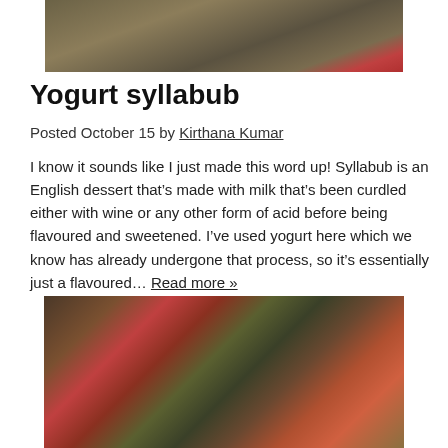[Figure (photo): Top portion of a food photo, partially cropped, showing what appears to be a fig or berry dessert dish with a dark background]
Yogurt syllabub
Posted October 15 by Kirthana Kumar
I know it sounds like I just made this word up! Syllabub is an English dessert that's made with milk that's been curdled either with wine or any other form of acid before being flavoured and sweetened. I've used yogurt here which we know has already undergone that process, so it's essentially just a flavoured… Read more »
[Figure (photo): A colorful grain or couscous salad dish on a white plate, topped with tomatoes, pomegranate seeds, herbs, and other colorful ingredients]